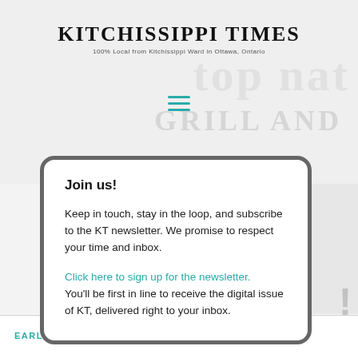KITCHISSIPPI TIMES
100% Local from Kitchissippi Ward in Ottawa, Ontario
Join us!
Keep in touch, stay in the loop, and subscribe to the KT newsletter. We promise to respect your time and inbox.
Click here to sign up for the newsletter. You'll be first in line to receive the digital issue of KT, delivered right to your inbox.
EARLY DAYS